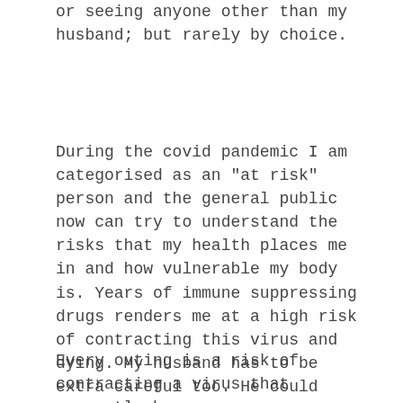or seeing anyone other than my husband; but rarely by choice.
During the covid pandemic I am categorised as an "at risk" person and the general public now can try to understand the risks that my health places me in and how vulnerable my body is. Years of immune suppressing drugs renders me at a high risk of contracting this virus and dying. My husband has to be extra careful too. He could accidentally bring this virus to me if he goes outside and the fact is he does have to go outside now because we frequently need groceries and medications.
Every outing is a risk of contracting a virus that currently has no cure or vaccination.